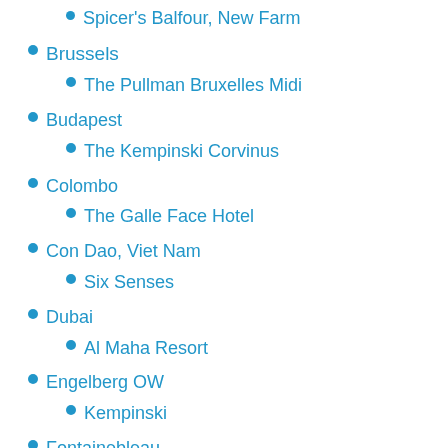Spicer's Balfour, New Farm
Brussels
The Pullman Bruxelles Midi
Budapest
The Kempinski Corvinus
Colombo
The Galle Face Hotel
Con Dao, Viet Nam
Six Senses
Dubai
Al Maha Resort
Engelberg OW
Kempinski
Fontainebleau
L'Aigle Noir MGallery
Ghent